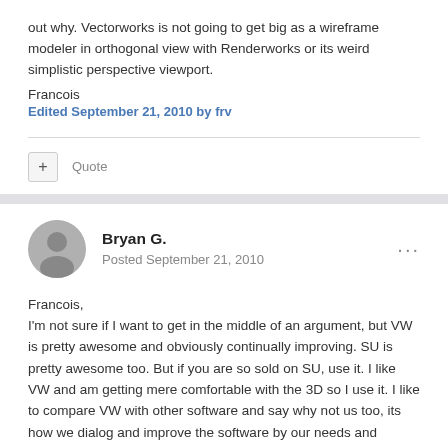out why. Vectorworks is not going to get big as a wireframe modeler in orthogonal view with Renderworks or its weird simplistic perspective viewport.
Francois
Edited September 21, 2010 by frv
+ Quote
Bryan G.
Posted September 21, 2010
Francois,
I'm not sure if I want to get in the middle of an argument, but VW is pretty awesome and obviously continually improving. SU is pretty awesome too. But if you are so sold on SU, use it. I like VW and am getting mere comfortable with the 3D so I use it. I like to compare VW with other software and say why not us too, its how we dialog and improve the software by our needs and